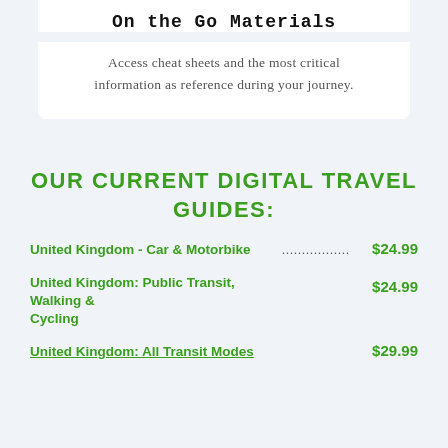On the Go Materials
Access cheat sheets and the most critical information as reference during your journey.
OUR CURRENT DIGITAL TRAVEL GUIDES:
United Kingdom - Car & Motorbike ................ $24.99
United Kingdom: Public Transit, Walking & Cycling $24.99
United Kingdom: All Transit Modes $29.99